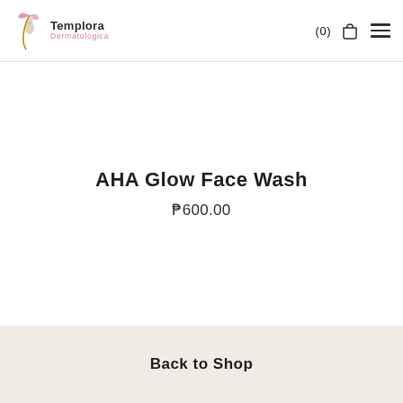Templora Dermatologica (0) [bag] [menu]
AHA Glow Face Wash
₱600.00
Back to Shop